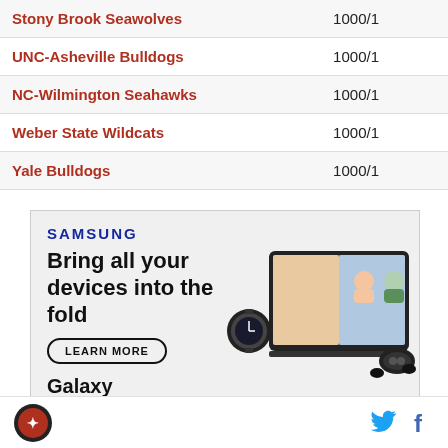| Team | Odds |
| --- | --- |
| Stony Brook Seawolves | 1000/1 |
| UNC-Asheville Bulldogs | 1000/1 |
| NC-Wilmington Seahawks | 1000/1 |
| Weber State Wildcats | 1000/1 |
| Yale Bulldogs | 1000/1 |
[Figure (illustration): Samsung advertisement showing Galaxy Z Fold4 with devices. Text: SAMSUNG, Bring all your devices into the fold, LEARN MORE, Galaxy Z Fold4]
Logo icon, Twitter icon, Facebook icon